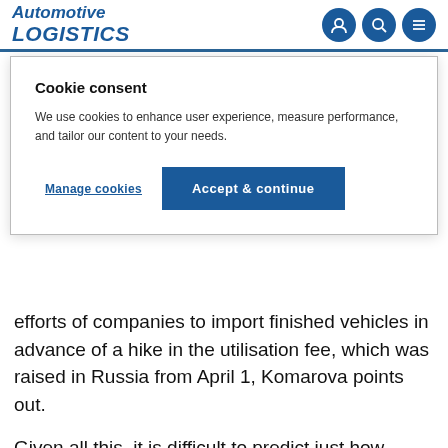Automotive LOGISTICS
Cookie consent
We use cookies to enhance user experience, measure performance, and tailor our content to your needs.
Manage cookies   Accept & continue
efforts of companies to import finished vehicles in advance of a hike in the utilisation fee, which was raised in Russia from April 1, Komarova points out.
Given all this, it is difficult to predict just how Russia's new approach will affect the automotive logistics market there. What is clear, however, is that change is most definitely in the wind.